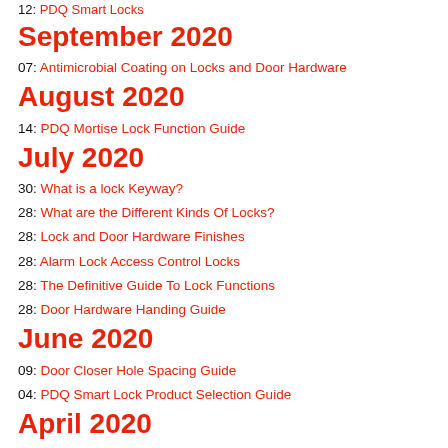12: PDQ Smart Locks
September 2020
07: Antimicrobial Coating on Locks and Door Hardware
August 2020
14: PDQ Mortise Lock Function Guide
July 2020
30: What is a lock Keyway?
28: What are the Different Kinds Of Locks?
28: Lock and Door Hardware Finishes
28: Alarm Lock Access Control Locks
28: The Definitive Guide To Lock Functions
28: Door Hardware Handing Guide
June 2020
09: Door Closer Hole Spacing Guide
04: PDQ Smart Lock Product Selection Guide
April 2020